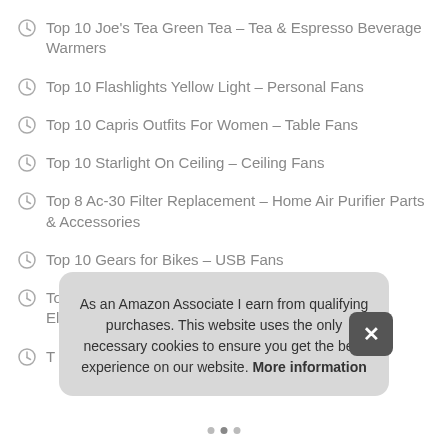Top 10 Joe's Tea Green Tea – Tea & Espresso Beverage Warmers
Top 10 Flashlights Yellow Light – Personal Fans
Top 10 Capris Outfits For Women – Table Fans
Top 10 Starlight On Ceiling – Ceiling Fans
Top 8 Ac-30 Filter Replacement – Home Air Purifier Parts & Accessories
Top 10 Gears for Bikes – USB Fans
Top 9 Taurus Vacuum Cleaner – Stick Vacuums & Electric Brooms
T…
As an Amazon Associate I earn from qualifying purchases. This website uses the only necessary cookies to ensure you get the best experience on our website. More information